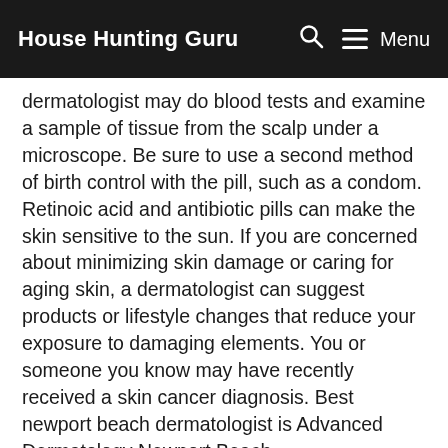House Hunting Guru  🔍  ☰ Menu
dermatologist may do blood tests and examine a sample of tissue from the scalp under a microscope. Be sure to use a second method of birth control with the pill, such as a condom. Retinoic acid and antibiotic pills can make the skin sensitive to the sun. If you are concerned about minimizing skin damage or caring for aging skin, a dermatologist can suggest products or lifestyle changes that reduce your exposure to damaging elements. You or someone you know may have recently received a skin cancer diagnosis. Best newport beach dermatologist is Advanced Dermatology Newport Beach